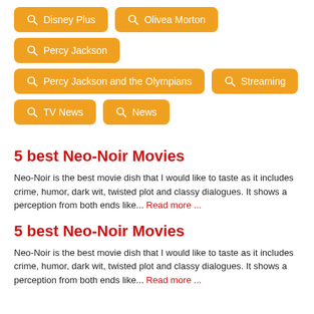Disney Plus
Olivea Morton
Percy Jackson
Percy Jackson and the Olympians
Streaming
TV News
News
5 best Neo-Noir Movies
Neo-Noir is the best movie dish that I would like to taste as it includes crime, humor, dark wit, twisted plot and classy dialogues. It shows a perception from both ends like... Read more ...
5 best Neo-Noir Movies
Neo-Noir is the best movie dish that I would like to taste as it includes crime, humor, dark wit, twisted plot and classy dialogues. It shows a perception from both ends like... Read more ...